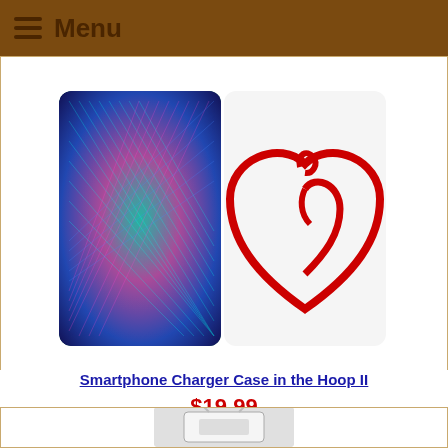Menu
[Figure (photo): Two embroidery/craft items: left shows a colorful string art pattern on dark background, right shows a red heart design on white background]
Smartphone Charger Case in the Hoop II
$19.99
SKU#: 16723
Choose Format
PES (dropdown select)
Add to Cart
[Figure (photo): Bottom of page showing partial product image of a smartphone charger case]